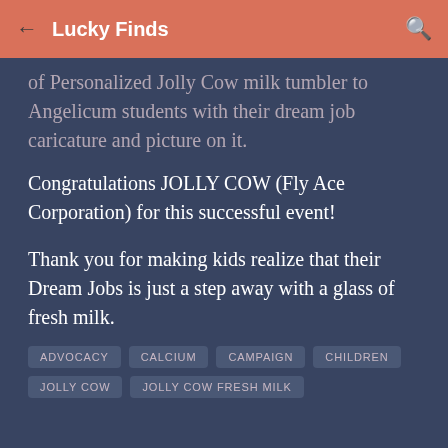Lucky Finds
of Personalized Jolly Cow milk tumbler to Angelicum students with their dream job caricature and picture on it.
Congratulations JOLLY COW (Fly Ace Corporation) for this successful event!
Thank you for making kids realize that their Dream Jobs is just a step away with a glass of fresh milk.
ADVOCACY
CALCIUM
CAMPAIGN
CHILDREN
JOLLY COW
JOLLY COW FRESH MILK